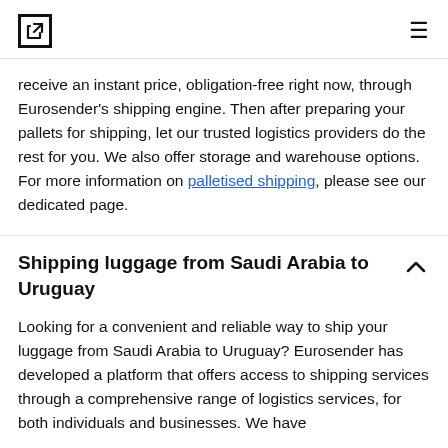[Logo icon] [Hamburger menu]
receive an instant price, obligation-free right now, through Eurosender's shipping engine. Then after preparing your pallets for shipping, let our trusted logistics providers do the rest for you. We also offer storage and warehouse options. For more information on palletised shipping, please see our dedicated page.
Shipping luggage from Saudi Arabia to Uruguay
Looking for a convenient and reliable way to ship your luggage from Saudi Arabia to Uruguay? Eurosender has developed a platform that offers access to shipping services through a comprehensive range of logistics services, for both individuals and businesses. We have